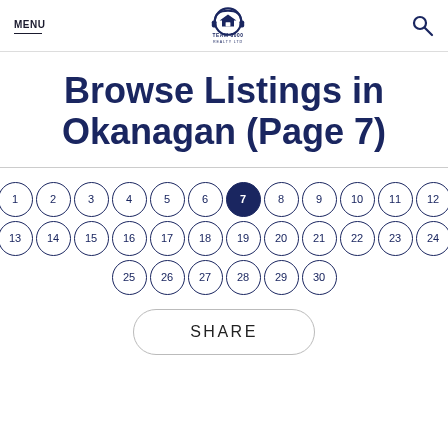MENU | TEAM 3000 REALTY LTD | [search icon]
Browse Listings in Okanagan (Page 7)
[Figure (other): Pagination control showing page numbers 1-30 in circles, with page 7 highlighted in dark navy blue]
SHARE